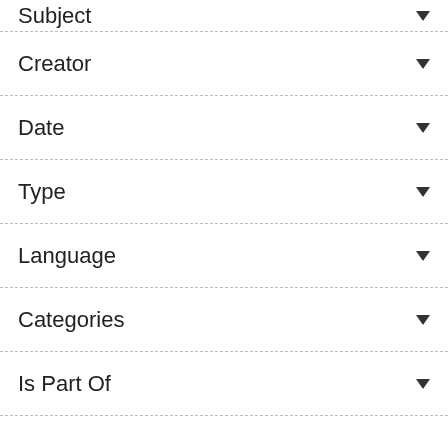Subject
Creator
Date
Type
Language
Categories
Is Part Of